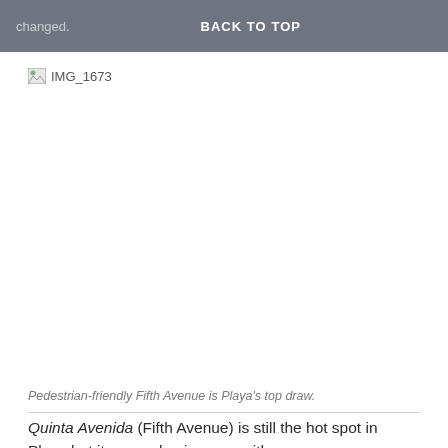changed.   BACK TO TOP
[Figure (photo): Broken/missing image placeholder labeled IMG_1673]
Pedestrian-friendly Fifth Avenue is Playa's top draw.
Quinta Avenida (Fifth Avenue) is still the hot spot in Playa but it seems busier now, with even more opportunities